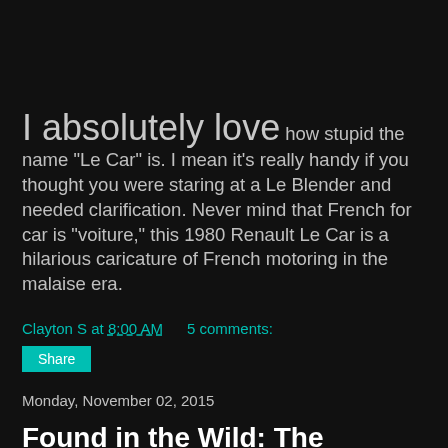I absolutely love how stupid the name "Le Car" is. I mean it's really handy if you thought you were staring at a Le Blender and needed clarification. Never mind that French for car is "voiture," this 1980 Renault Le Car is a hilarious caricature of French motoring in the malaise era.
Clayton S at 8:00 AM    5 comments:
Share
Monday, November 02, 2015
Found in the Wild: The Replacement for Displacement